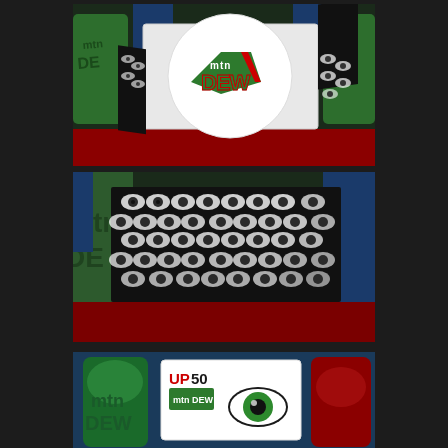[Figure (photo): Mountain Dew branded cardboard box with white front and circular Mountain Dew logo (green, red, black), sides covered in black-and-white eye pattern. Background shows Mountain Dew cans and red surface.]
[Figure (photo): Close-up side view of same Mountain Dew box showing the black-and-white repeating eye/iris pattern covering the entire visible surface. Background shows Mountain Dew branding and red surface.]
[Figure (photo): Partial view of Mountain Dew promotional materials including a green MTN Dew can, a white card with 'UP 50' text and eye/Mtn Dew logo, and a large green eye graphic, with colored background.]